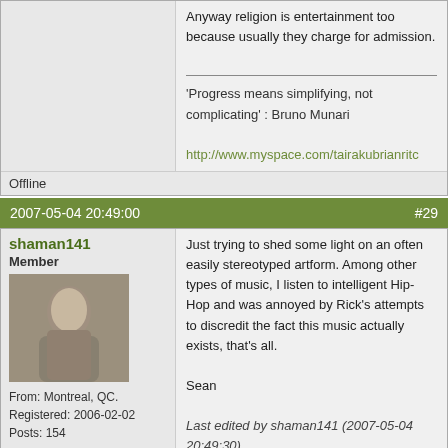Anyway religion is entertainment too because usually they charge for admission.
'Progress means simplifying, not complicating' : Bruno Munari
http://www.myspace.com/tairakubrianritc
Offline
2007-05-04 20:49:00  #29
shaman141
Member
From: Montreal, QC.
Registered: 2006-02-02
Posts: 154
Website
Just trying to shed some light on an often easily stereotyped artform. Among other types of music, I listen to intelligent Hip-Hop and was annoyed by Rick's attempts to discredit the fact this music actually exists, that's all.

Sean
Last edited by shaman141 (2007-05-04 20:49:30)
Find your voice and express yourself, that's the point.
Offline